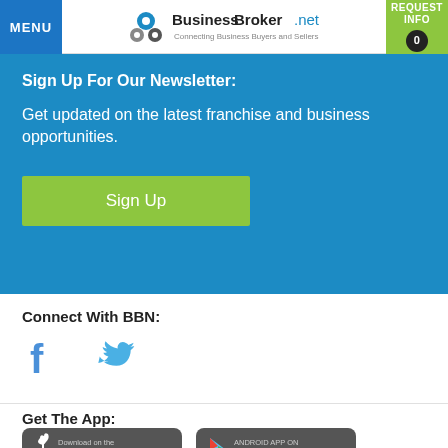MENU | BusinessBroker.net Connecting Business Buyers and Sellers | REQUEST INFO 0
Sign Up For Our Newsletter:
Get updated on the latest franchise and business opportunities.
Sign Up
Connect With BBN:
[Figure (illustration): Facebook and Twitter social media icons in blue]
Get The App:
[Figure (illustration): Download on the App Store badge (dark grey rounded rectangle with Apple logo)]
[Figure (illustration): Android App on Google play badge (dark grey rounded rectangle with Google Play triangle logo)]